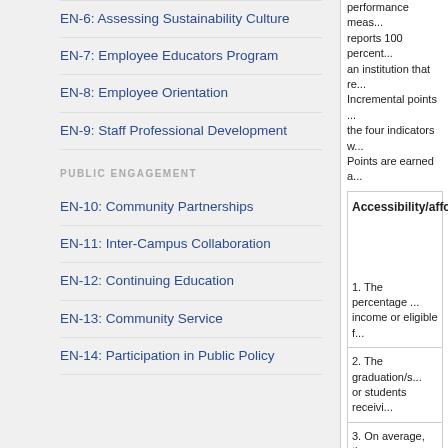EN-6: Assessing Sustainability Culture
EN-7: Employee Educators Program
EN-8: Employee Orientation
EN-9: Staff Professional Development
PUBLIC ENGAGEMENT
EN-10: Community Partnerships
EN-11: Inter-Campus Collaboration
EN-12: Continuing Education
EN-13: Community Service
EN-14: Participation in Public Policy
performance meas... reports 100 percent... an institution that re... Incremental points ... the four indicators w... Points are earned a...
Accessibility/affo...
1. The percentage ... income or eligible f...
2. The graduation/s... or students receivi...
3. On average, the ... who were awarded...